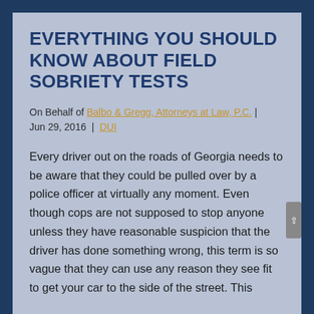EVERYTHING YOU SHOULD KNOW ABOUT FIELD SOBRIETY TESTS
On Behalf of Balbo & Gregg, Attorneys at Law, P.C. | Jun 29, 2016 | DUI
Every driver out on the roads of Georgia needs to be aware that they could be pulled over by a police officer at virtually any moment. Even though cops are not supposed to stop anyone unless they have reasonable suspicion that the driver has done something wrong, this term is so vague that they can use any reason they see fit to get your car to the side of the street. This